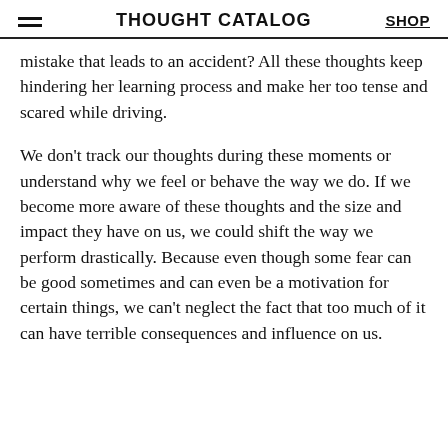THOUGHT CATALOG | SHOP
mistake that leads to an accident? All these thoughts keep hindering her learning process and make her too tense and scared while driving.
We don't track our thoughts during these moments or understand why we feel or behave the way we do. If we become more aware of these thoughts and the size and impact they have on us, we could shift the way we perform drastically. Because even though some fear can be good sometimes and can even be a motivation for certain things, we can't neglect the fact that too much of it can have terrible consequences and influence on us.